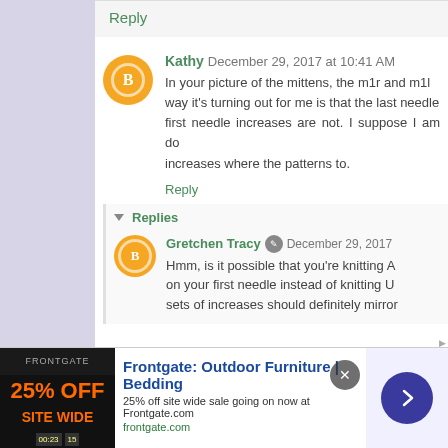Reply
Kathy December 29, 2017 at 10:41 AM
In your picture of the mittens, the m1r and m1l way it's turning out for me is that the last needle first needle increases are not. I suppose I am do increases where the patterns to.
Reply
Replies
Gretchen Tracy December 29, 2017
Hmm, is it possible that you're knitting A on your first needle instead of knitting U sets of increases should definitely mirror
Frontgate: Outdoor Furniture | Bedding 25% off site wide sale going on now at Frontgate.com frontgate.com